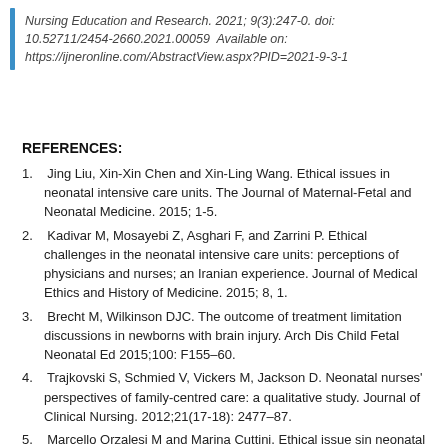Nursing Education and Research. 2021; 9(3):247-0. doi: 10.52711/2454-2660.2021.00059  Available on: https://ijneronline.com/AbstractView.aspx?PID=2021-9-3-1
REFERENCES:
1.    Jing Liu, Xin-Xin Chen and Xin-Ling Wang. Ethical issues in neonatal intensive care units. The Journal of Maternal-Fetal and Neonatal Medicine. 2015; 1-5.
2.    Kadivar M, Mosayebi Z, Asghari F, and Zarrini P. Ethical challenges in the neonatal intensive care units: perceptions of physicians and nurses; an Iranian experience. Journal of Medical Ethics and History of Medicine. 2015; 8, 1.
3.    Brecht M, Wilkinson DJC. The outcome of treatment limitation discussions in newborns with brain injury. Arch Dis Child Fetal Neonatal Ed 2015;100: F155–60.
4.    Trajkovski S, Schmied V, Vickers M, Jackson D. Neonatal nurses' perspectives of family-centred care: a qualitative study. Journal of Clinical Nursing. 2012;21(17-18): 2477–87.
5.    Marcello Orzalesi M and Marina Cuttini. Ethical issue sin neonatal nursing. Ann Ist Super Sanita. 2011;47(3): 273-277.
6.    Hagger V et al .Legal and ethical issues in neonatal nursing: a case study. 2016. Nursing Standard. 30, 44, 48-53.